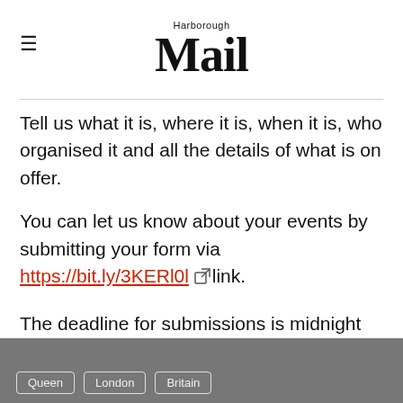Harborough Mail
Tell us what it is, where it is, when it is, who organised it and all the details of what is on offer.
You can let us know about your events by submitting your form via https://bit.ly/3KERl0l link.
The deadline for submissions is midnight on May 19.
Queen  London  Britain